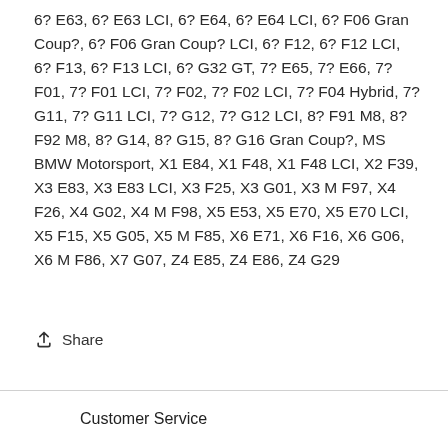6? E63, 6? E63 LCI, 6? E64, 6? E64 LCI, 6? F06 Gran Coup?, 6? F06 Gran Coup? LCI, 6? F12, 6? F12 LCI, 6? F13, 6? F13 LCI, 6? G32 GT, 7? E65, 7? E66, 7? F01, 7? F01 LCI, 7? F02, 7? F02 LCI, 7? F04 Hybrid, 7? G11, 7? G11 LCI, 7? G12, 7? G12 LCI, 8? F91 M8, 8? F92 M8, 8? G14, 8? G15, 8? G16 Gran Coup?, MS BMW Motorsport, X1 E84, X1 F48, X1 F48 LCI, X2 F39, X3 E83, X3 E83 LCI, X3 F25, X3 G01, X3 M F97, X4 F26, X4 G02, X4 M F98, X5 E53, X5 E70, X5 E70 LCI, X5 F15, X5 G05, X5 M F85, X6 E71, X6 F16, X6 G06, X6 M F86, X7 G07, Z4 E85, Z4 E86, Z4 G29
Share
Customer Service